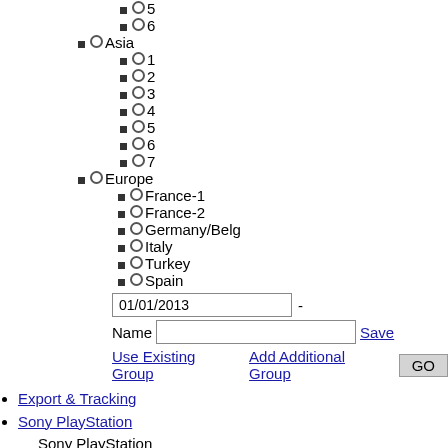○ 5
○ 6
○ Asia
○ 1
○ 2
○ 3
○ 4
○ 5
○ 6
○ 7
○ Europe
○ France-1
○ France-2
○ Germany/Belg
○ Italy
○ Turkey
○ Spain
01/01/2013 -
Name  Save
Use Existing Group  Add Additional Group  GO
Export & Tracking
Sony PlayStation
Sony PlayStation